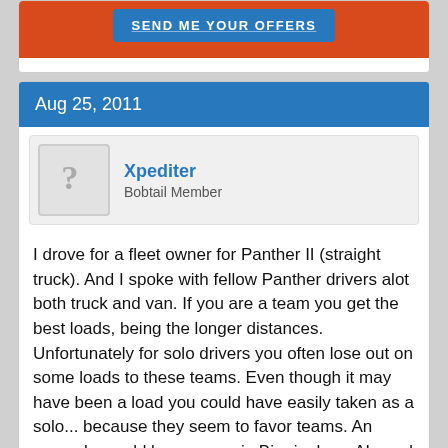[Figure (screenshot): Top portion of a forum page showing an orange banner with a blue 'SEND ME YOUR OFFERS' button]
Aug 25, 2011
Xpediter
Bobtail Member
I drove for a fleet owner for Panther II (straight truck). And I spoke with fellow Panther drivers alot both truck and van. If you are a team you get the best loads, being the longer distances. Unfortunately for solo drivers you often lose out on some loads to these teams. Even though it may have been a load you could have easily taken as a solo... because they seem to favor teams. An example would be, you are in Birmingham,AL. and at the time you dropped your last load you were the only Panther II vehicle in the area. A team pulls in after you. It